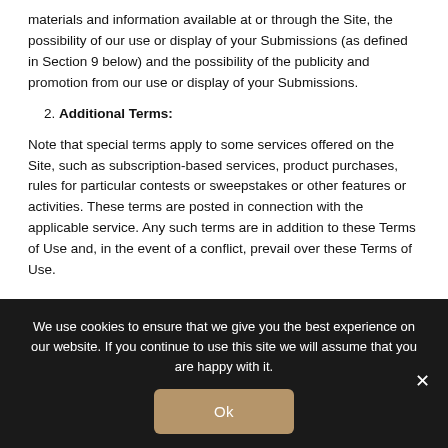materials and information available at or through the Site, the possibility of our use or display of your Submissions (as defined in Section 9 below) and the possibility of the publicity and promotion from our use or display of your Submissions.
2. Additional Terms:
Note that special terms apply to some services offered on the Site, such as subscription-based services, product purchases, rules for particular contests or sweepstakes or other features or activities. These terms are posted in connection with the applicable service. Any such terms are in addition to these Terms of Use and, in the event of a conflict, prevail over these Terms of Use.
We use cookies to ensure that we give you the best experience on our website. If you continue to use this site we will assume that you are happy with it.